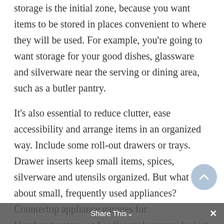Storage is the initial zone, because you want items to be stored in places convenient to where they will be used. For example, you're going to want storage for your good dishes, glassware and silverware near the serving or dining area, such as a butler pantry.
It's also essential to reduce clutter, ease accessibility and arrange items in an organized way. Include some roll-out drawers or trays. Drawer inserts keep small items, spices, silverware and utensils organized. But what about small, frequently used appliances? Countertop appliance garages for blenders,toasters, and coffee makers may be just what you need. On the other hand, if you want to keep your counter space free, consider going underneath the counter. You can include a pull-out mixer shelf, Share This out of the cabinet